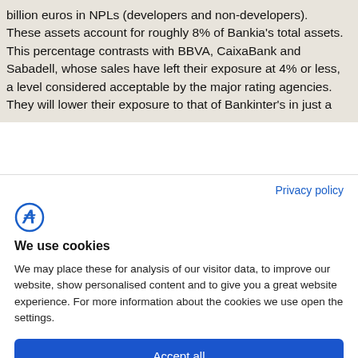billion euros in NPLs (developers and non-developers). These assets account for roughly 8% of Bankia's total assets. This percentage contrasts with BBVA, CaixaBank and Sabadell, whose sales have left their exposure at 4% or less, a level considered acceptable by the major rating agencies. They will lower their exposure to that of Bankinter's in just a
Privacy policy
[Figure (logo): Stylized letter F logo in blue circle outline]
We use cookies
We may place these for analysis of our visitor data, to improve our website, show personalised content and to give you a great website experience. For more information about the cookies we use open the settings.
Accept all
Deny
No, adjust